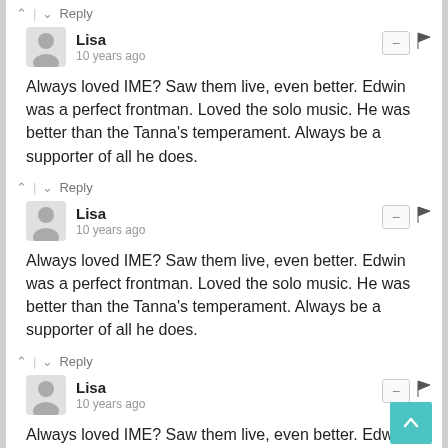^ | v  Reply
Lisa
10 years ago
Always loved IME? Saw them live, even better. Edwin was a perfect frontman. Loved the solo music. He was better than the Tanna's temperament. Always be a supporter of all he does.
^ | v  Reply
Lisa
10 years ago
Always loved IME? Saw them live, even better. Edwin was a perfect frontman. Loved the solo music. He was better than the Tanna's temperament. Always be a supporter of all he does.
^ | v  Reply
Lisa
10 years ago
Always loved IME? Saw them live, even better. Edwin was a perfect frontman. Loved the solo